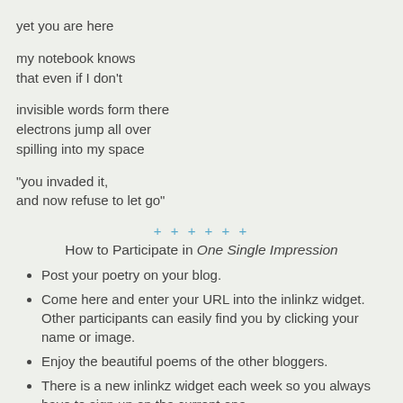yet you are here
my notebook knows
that even if I don't
invisible words form there
electrons jump all over
spilling into my space
"you invaded it,
and now refuse to let go"
+ + + + + +
How to Participate in One Single Impression
Post your poetry on your blog.
Come here and enter your URL into the inlinkz widget. Other participants can easily find you by clicking your name or image.
Enjoy the beautiful poems of the other bloggers.
There is a new inlinkz widget each week so you always have to sign up on the current one.